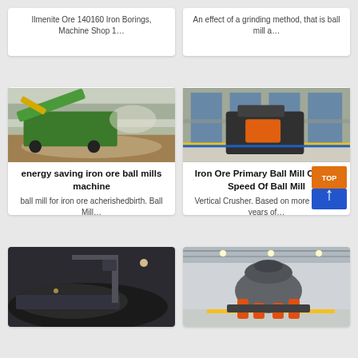Ilmenite Ore 140160 Iron Borings, Machine Shop 1…
An effect of a grinding method, that is ball mill a…
[Figure (photo): Mobile crushing machine with green conveyor working outdoors on gravel/rock site]
[Figure (photo): Industrial crusher machine (orange/grey) inside a modern glass building]
energy saving iron ore ball mills machine
ball mill for iron ore acherishedbirth. Ball Mill…
Iron Ore Primary Ball Mill Critical Speed Of Ball Mill
Vertical Crusher. Based on more than 30 years of…
[Figure (photo): Industrial crane loading iron ore/coal onto a large pile outdoors at night or dusk]
[Figure (photo): Large grey cone crusher machine displayed in industrial hall with orange hydraulic legs]